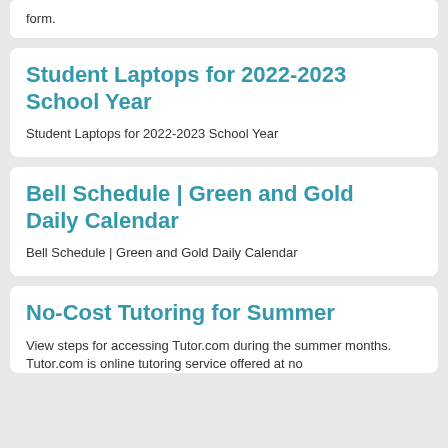form.
Student Laptops for 2022-2023 School Year
Student Laptops for 2022-2023 School Year
Bell Schedule | Green and Gold Daily Calendar
Bell Schedule | Green and Gold Daily Calendar
No-Cost Tutoring for Summer
View steps for accessing Tutor.com during the summer months. Tutor.com is online tutoring service offered at no